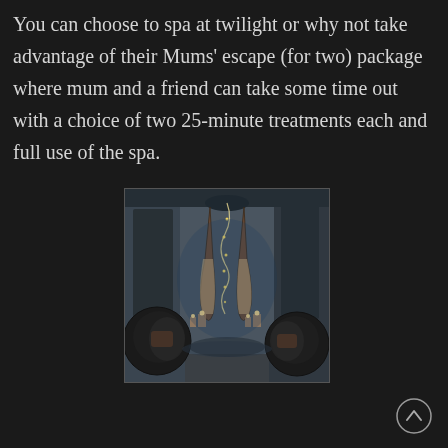You can choose to spa at twilight or why not take advantage of their Mums' escape (for two) package where mum and a friend can take some time out with a choice of two 25-minute treatments each and full use of the spa.
[Figure (photo): Luxury spa interior with two black ball chairs on either side, two teardrop-shaped hanging pod chairs in the center suspended from ceiling, surrounded by tall sheer curtains and candle lanterns on the floor, moody blue ambient lighting]